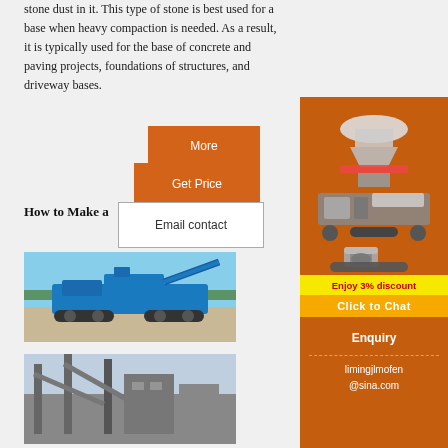stone dust in it. This type of stone is best used for a base when heavy compaction is needed. As a result, it is typically used for the base of concrete and paving projects, foundations of structures, and driveway bases.
[Figure (other): Orange 'More' button]
[Figure (other): Orange 'Get Price' button]
[Figure (other): White 'Email contact' button with border]
How to Make a
[Figure (illustration): Industrial machinery display on orange background — multiple machines including cone crusher, mobile crushing unit, and grinding mill]
[Figure (other): Yellow banner: Enjoy 3% discount]
[Figure (other): Orange banner: Click to Chat]
[Figure (other): Orange Enquiry box with email limingjlmofen@sina.com]
[Figure (photo): Blue mobile crushing/screening machine on a paved lot outdoors]
[Figure (photo): Industrial facility with conveyors and stone processing equipment]